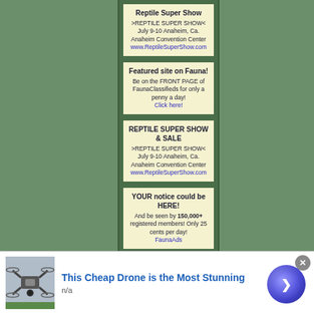[Figure (infographic): Ad box for Reptile Super Show with title, date info, and link]
[Figure (infographic): Ad box for Featured site on Fauna with Click here link]
[Figure (infographic): Ad box for REPTILE SUPER SHOW & SALE with date and link]
[Figure (infographic): Ad box: YOUR notice could be HERE! 150,000+ members, FaunaAds link]
[Figure (infographic): Partial ad box for BSR AUCTIONS at bottom of column]
[Figure (infographic): Bottom banner ad: This Cheap Drone is the Most Stunning, n/a, with drone photo and navigation button]